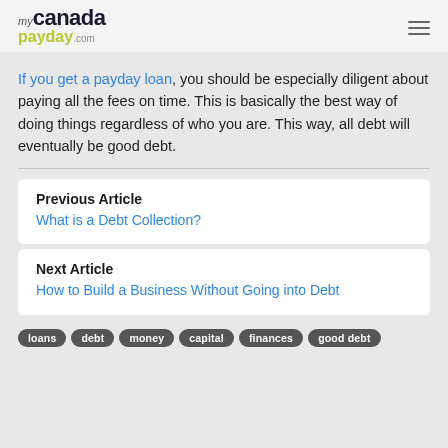mycanadapayday.com
If you get a payday loan, you should be especially diligent about paying all the fees on time. This is basically the best way of doing things regardless of who you are. This way, all debt will eventually be good debt.
Previous Article
What is a Debt Collection?
Next Article
How to Build a Business Without Going into Debt
loans
debt
money
capital
finances
good debt